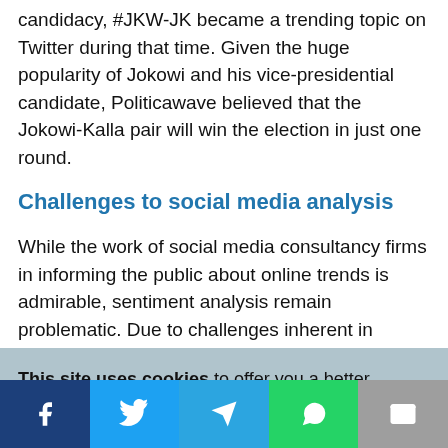candidacy, #JKW-JK became a trending topic on Twitter during that time. Given the huge popularity of Jokowi and his vice-presidential candidate, Politicawave believed that the Jokowi-Kalla pair will win the election in just one round.
Challenges to social media analysis
While the work of social media consultancy firms in informing the public about online trends is admirable, sentiment analysis remain problematic. Due to challenges inherent in sentiment analysis, there is a
This site uses cookies to offer you a better browsing experience. By continuing, you are agreeing to the use of cookies on your device as described in our privacy policy. Learn more
[Figure (infographic): Social media share bar with icons for Facebook, Twitter, Telegram, WhatsApp, and Email]